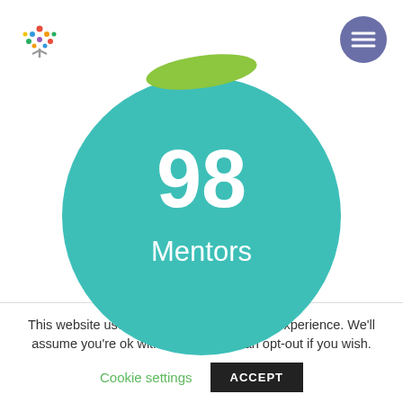[Figure (logo): Colorful tree logo with multicolored dots/leaves in top left corner]
[Figure (illustration): Purple/blue circle with hamburger menu icon in top right corner]
[Figure (illustration): Green arc/leaf shape at top center, partially behind teal circle]
[Figure (infographic): Large teal circle displaying the number 98 and the word Mentors in white text]
This website uses cookies to improve your experience. We'll assume you're ok with this, but you can opt-out if you wish.
Cookie settings
ACCEPT